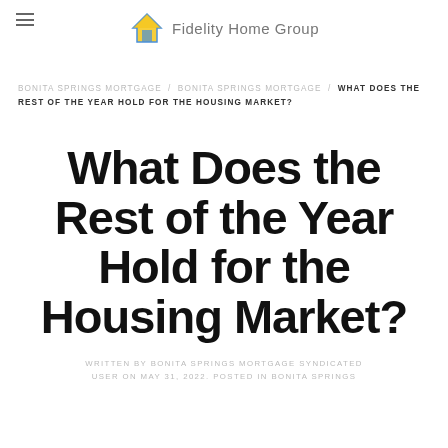Fidelity Home Group
BONITA SPRINGS MORTGAGE / BONITA SPRINGS MORTGAGE / WHAT DOES THE REST OF THE YEAR HOLD FOR THE HOUSING MARKET?
What Does the Rest of the Year Hold for the Housing Market?
WRITTEN BY BONITA SPRINGS MORTGAGE SYNDICATED USER ON MAY 31, 2022. POSTED IN BONITA SPRINGS